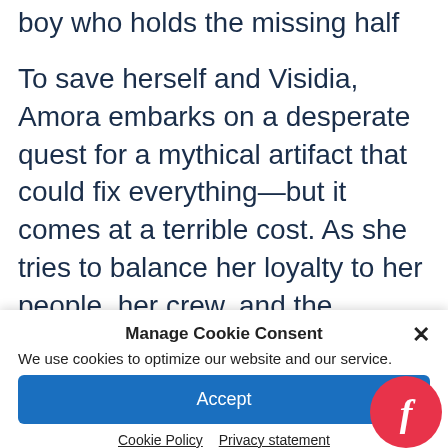boy who holds the missing half of her soul.
To save herself and Visidia, Amora embarks on a desperate quest for a mythical artifact that could fix everything—but it comes at a terrible cost. As she tries to balance her loyalty to her people, her crew, and the desires of her heart, Amora will soon discover that the power to rule
Manage Cookie Consent
We use cookies to optimize our website and our service.
Accept
Cookie Policy    Privacy statement